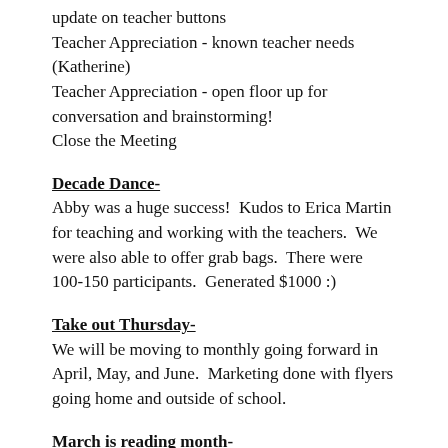update on teacher buttons
Teacher Appreciation - known teacher needs (Katherine)
Teacher Appreciation - open floor up for conversation and brainstorming!
Close the Meeting
Decade Dance-
Abby was a huge success!  Kudos to Erica Martin for teaching and working with the teachers.  We were also able to offer grab bags.  There were 100-150 participants.  Generated $1000 :)
Take out Thursday-
We will be moving to monthly going forward in April, May, and June.  Marketing done with flyers going home and outside of school.
March is reading month-